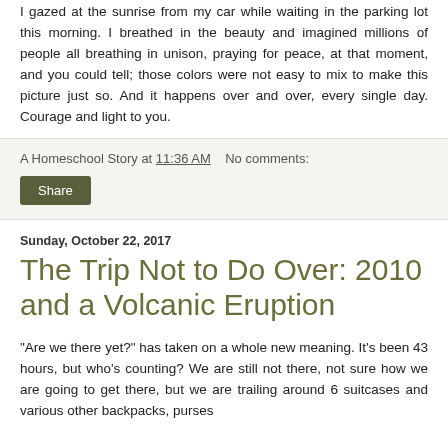I gazed at the sunrise from my car while waiting in the parking lot this morning. I breathed in the beauty and imagined millions of people all breathing in unison, praying for peace, at that moment, and you could tell; those colors were not easy to mix to make this picture just so. And it happens over and over, every single day. Courage and light to you.
A Homeschool Story at 11:36 AM   No comments:
Share
Sunday, October 22, 2017
The Trip Not to Do Over: 2010 and a Volcanic Eruption
"Are we there yet?" has taken on a whole new meaning. It's been 43 hours, but who's counting? We are still not there, not sure how we are going to get there, but we are trailing around 6 suitcases and various other backpacks, purses